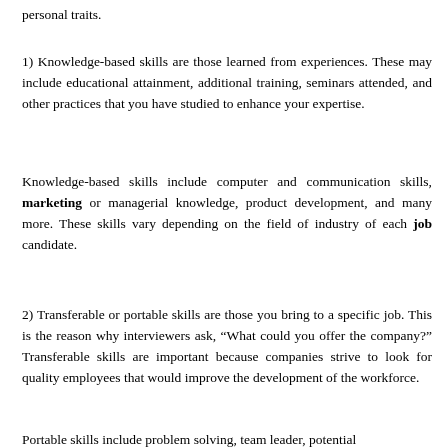personal traits.
1) Knowledge-based skills are those learned from experiences. These may include educational attainment, additional training, seminars attended, and other practices that you have studied to enhance your expertise.
Knowledge-based skills include computer and communication skills, marketing or managerial knowledge, product development, and many more. These skills vary depending on the field of industry of each job candidate.
2) Transferable or portable skills are those you bring to a specific job. This is the reason why interviewers ask, “What could you offer the company?” Transferable skills are important because companies strive to look for quality employees that would improve the development of the workforce.
Portable skills include problem solving, team leader, potential